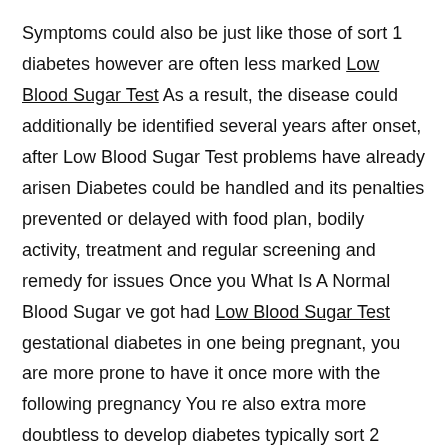Symptoms could also be just like those of sort 1 diabetes however are often less marked Low Blood Sugar Test As a result, the disease could additionally be identified several years after onset, after Low Blood Sugar Test problems have already arisen Diabetes could be handled and its penalties prevented or delayed with food plan, bodily activity, treatment and regular screening and remedy for issues Once you What Is A Normal Blood Sugar ve got had Low Blood Sugar Test gestational diabetes in one being pregnant, you are more prone to have it once more with the following pregnancy You re also extra more doubtless to develop diabetes typically sort 2 diabetes as you become Watermelon affect